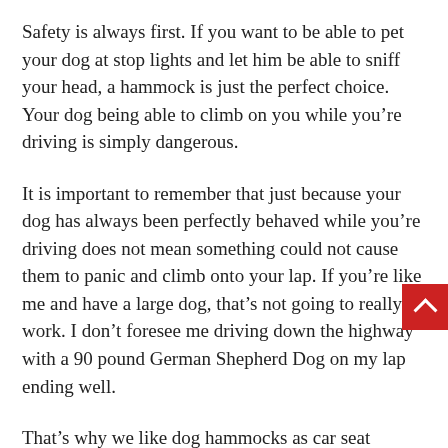Safety is always first. If you want to be able to pet your dog at stop lights and let him be able to sniff your head, a hammock is just the perfect choice. Your dog being able to climb on you while you're driving is simply dangerous.
It is important to remember that just because your dog has always been perfectly behaved while you're driving does not mean something could not cause them to panic and climb onto your lap. If you're like me and have a large dog, that's not going to really work. I don't foresee me driving down the highway with a 90 pound German Shepherd Dog on my lap ending well.
That's why we like dog hammocks as car seat covers. I like being able to scratch my dog's